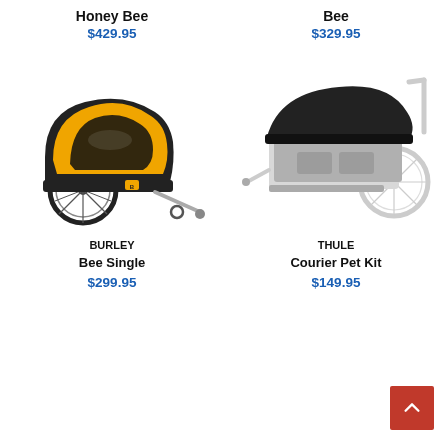Honey Bee
$429.95
Bee
$329.95
[Figure (photo): Burley Bee Single yellow and black bike trailer with large wheel and tow hitch]
BURLEY
Bee Single
$299.95
[Figure (photo): Thule Courier Pet Kit grey and black bike trailer with wheel and tow arm]
THULE
Courier Pet Kit
$149.95